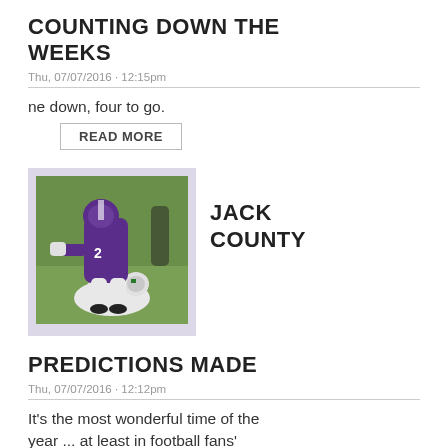COUNTING DOWN THE WEEKS
Thu, 07/07/2016 - 12:15pm
ne down, four to go.
READ MORE
[Figure (photo): Football players on the field, one in purple jersey tackling another in white jersey]
JACK COUNTY
PREDICTIONS MADE
Thu, 07/07/2016 - 12:12pm
It's the most wonderful time of the year ... at least in football fans' minds.
READ MORE
« first   ‹ previous   ...